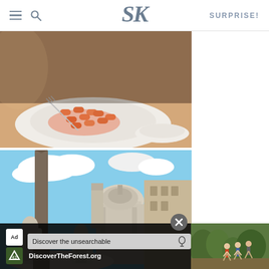SK | SURPRISE!
[Figure (photo): A white plate with rigatoni pasta in tomato sauce, a fork resting on the plate, and another white bowl visible to the right, on a restaurant table]
[Figure (photo): Looking up at an obelisk and the Church of Sant'Agnese in Agone at Piazza Navona in Rome, Italy, with white marble fountain sculptures in the foreground and blue sky with clouds]
[Figure (photo): Advertisement banner: 'Discover the unsearchable / DiscoverTheForest.org' with forest hikers photo on the right side]